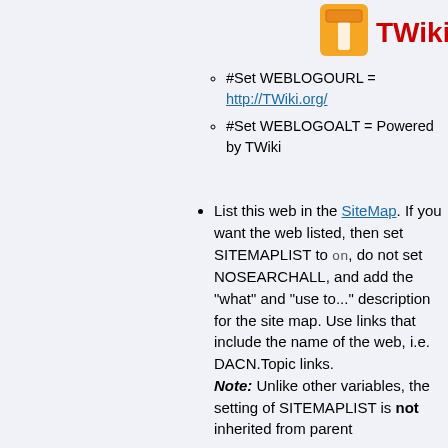[Figure (logo): TWiki logo with orange T brick icon and red TWiki text]
#Set WEBLOGOURL = http://TWiki.org/
#Set WEBLOGOALT = Powered by TWiki
List this web in the SiteMap. If you want the web listed, then set SITEMAPLIST to on, do not set NOSEARCHALL, and add the "what" and "use to..." description for the site map. Use links that include the name of the web, i.e. DACN.Topic links.
Note: Unlike other variables, the setting of SITEMAPLIST is not inherited from parent